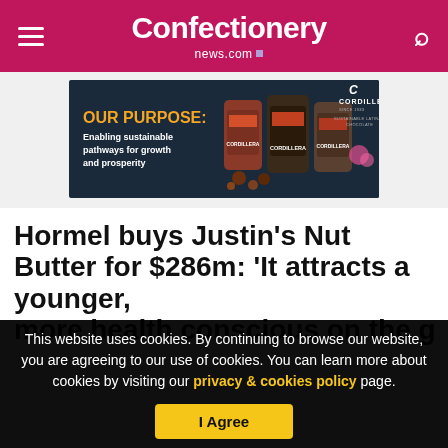Confectionery news.com
[Figure (illustration): Cordillera chocolate brand advertisement banner showing three chocolate bags on dark navy background with text 'OUR PURPOSE: Enabling sustainable pathways for growth and prosperity' and Cordillera brand logo]
Hormel buys Justin's Nut Butter for $286m: 'It attracts a younger, more health conscious on the go
This website uses cookies. By continuing to browse our website, you are agreeing to our use of cookies. You can learn more about cookies by visiting our privacy & cookies policy page.